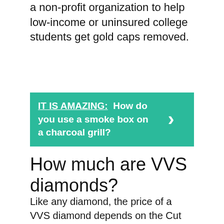a non-profit organization to help low-income or uninsured college students get gold caps removed.
IT IS AMAZING: How do you use a smoke box on a charcoal grill?
How much are VVS diamonds?
Like any diamond, the price of a VVS diamond depends on the Cut quality, Color, Shape and Carat Weight. The average price of a 1 Carat VVS1 round diamond with an H-I color is $5,500. The average cost of a 1 Carat VVS2 round diamond with an I color is $5,310.